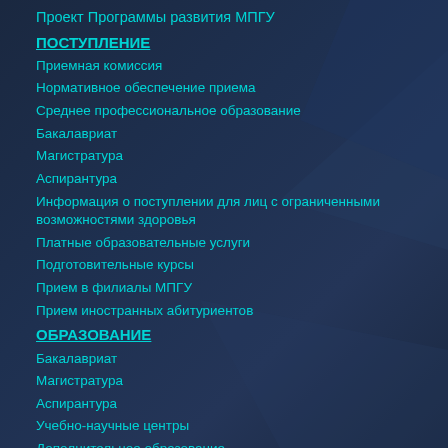Проект Программы развития МПГУ
ПОСТУПЛЕНИЕ
Приемная комиссия
Нормативное обеспечение приема
Среднее профессиональное образование
Бакалавриат
Магистратура
Аспирантура
Информация о поступлении для лиц с ограниченными возможностями здоровья
Платные образовательные услуги
Подготовительные курсы
Прием в филиалы МПГУ
Прием иностранных абитуриентов
ОБРАЗОВАНИЕ
Бакалавриат
Магистратура
Аспирантура
Учебно-научные центры
Дополнительное образование
Подготовительные курсы